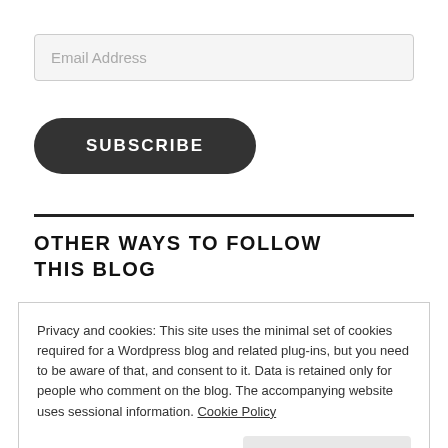Email Address
SUBSCRIBE
OTHER WAYS TO FOLLOW THIS BLOG
Privacy and cookies: This site uses the minimal set of cookies required for a Wordpress blog and related plug-ins, but you need to be aware of that, and consent to it. Data is retained only for people who comment on the blog. The accompanying website uses sessional information. Cookie Policy
Close and accept
INTRODUCTION TO SOCIAL